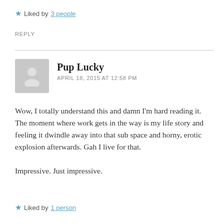★ Liked by 3 people
REPLY
Pup Lucky
APRIL 18, 2015 AT 12:58 PM
Wow, I totally understand this and damn I'm hard reading it.
The moment where work gets in the way is my life story and feeling it dwindle away into that sub space and horny, erotic explosion afterwards. Gah I live for that.

Impressive. Just impressive.
★ Liked by 1 person